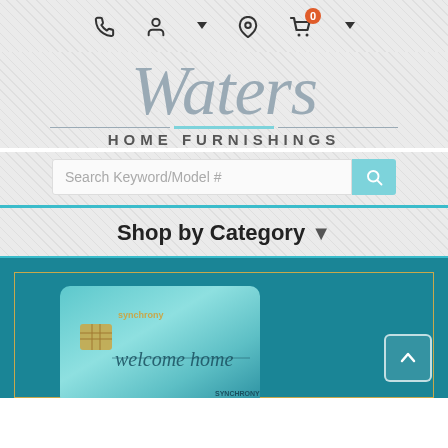Navigation icons: phone, user account, location, shopping cart (0)
[Figure (logo): Waters Home Furnishings script logo in grey/blue]
Search Keyword/Model #
Shop by Category
[Figure (photo): Synchrony credit card banner with teal background and gold border frame, card reads 'welcome home']